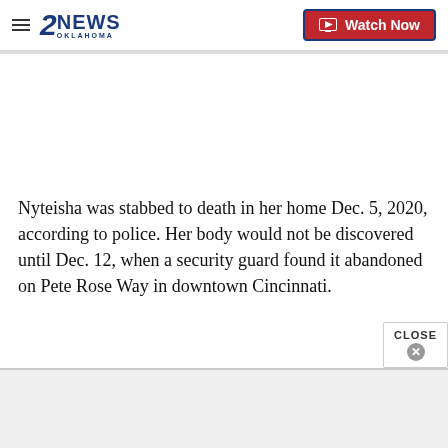2NEWS OKLAHOMA | Watch Now
Nyteisha was stabbed to death in her home Dec. 5, 2020, according to police. Her body would not be discovered until Dec. 12, when a security guard found it abandoned on Pete Rose Way in downtown Cincinnati.